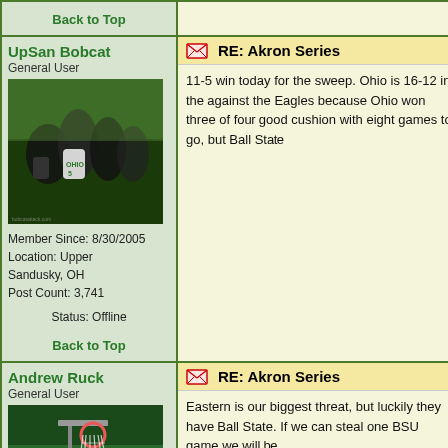Back to Top
UpSan Bobcat
General User
Member Since: 8/30/2005
Location: Upper Sandusky, OH
Post Count: 3,741
Status: Offline
RE: Akron Series
11-5 win today for the sweep. Ohio is 16-12 in th... against the Eagles because Ohio won three of fo... good cushion with eight games to go, but Ball St...
Back to Top
Andrew Ruck
General User
RE: Akron Series
Eastern is our biggest threat, but luckily they hav... Ball State. If we can steal one BSU game we will...
Andrew Ruck
B.B.A. 2003